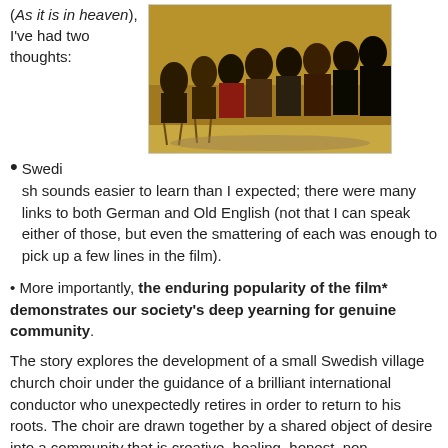(As it is in heaven), I've had two thoughts:
[Figure (photo): Photo of a group of people seated in chairs arranged in a circle or semi-circle, appearing to be in a community gathering or choir rehearsal setting.]
Swedish sounds easier to learn than I expected; there were many links to both German and Old English (not that I can speak either of those, but even the smattering of each was enough to pick up a few lines in the film).
More importantly, the enduring popularity of the film* demonstrates our society's deep yearning for genuine community.
The story explores the development of a small Swedish village church choir under the guidance of a brilliant international conductor who unexpectedly retires in order to return to his roots. The choir are drawn together by a shared object of desire into a community that is creative, healing, honest, non-judgemental, transformative, sexuality